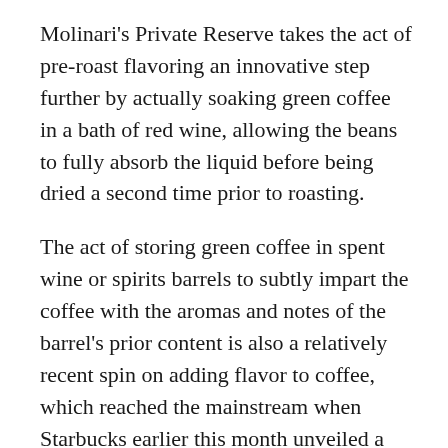Molinari's Private Reserve takes the act of pre-roast flavoring an innovative step further by actually soaking green coffee in a bath of red wine, allowing the beans to fully absorb the liquid before being dried a second time prior to roasting.
The act of storing green coffee in spent wine or spirits barrels to subtly impart the coffee with the aromas and notes of the barrel's prior content is also a relatively recent spin on adding flavor to coffee, which reached the mainstream when Starbucks earlier this month unveiled a whiskey barrel-aged coffee at select locations.
While it remains a territory that much of the specialty coffee community either treads very carefully upon or avoids altogether, some well-respected and intensely quality-driven roasters have engaged and experimented with barrel-aging, including Portland, Ore.-based Water Avenue Coffee, Patrick O'Malley's Infusion Coffee and Tea, Ceremony Coffee Roasters of Annapolis, Md., Idaho's